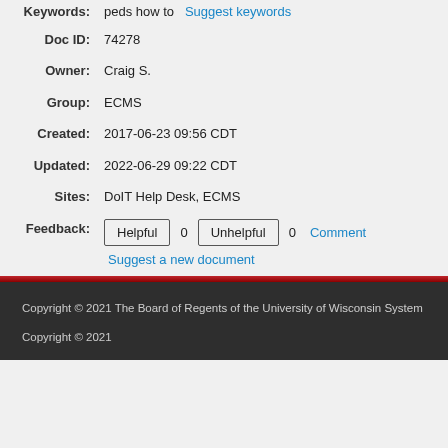Keywords: peds how to  Suggest keywords
Doc ID: 74278
Owner: Craig S.
Group: ECMS
Created: 2017-06-23 09:56 CDT
Updated: 2022-06-29 09:22 CDT
Sites: DoIT Help Desk, ECMS
Feedback: Helpful 0  Unhelpful 0  Comment  Suggest a new document
Copyright © 2021 The Board of Regents of the University of Wisconsin System
Copyright © 2021